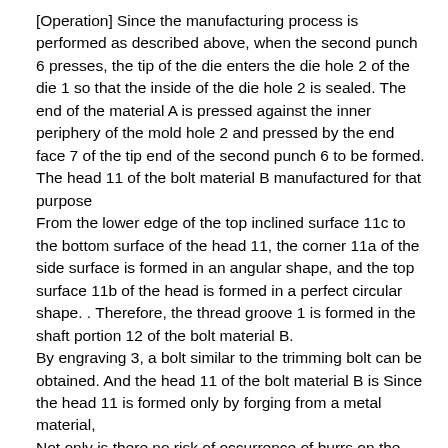[Operation] Since the manufacturing process is performed as described above, when the second punch 6 presses, the tip of the die enters the die hole 2 of the die 1 so that the inside of the die hole 2 is sealed. The end of the material A is pressed against the inner periphery of the mold hole 2 and pressed by the end face 7 of the tip end of the second punch 6 to be formed. The head 11 of the bolt material B manufactured for that purpose
From the lower edge of the top inclined surface 11c to the bottom surface of the head 11, the corner 11a of the side surface is formed in an angular shape, and the top surface 11b of the head is formed in a perfect circular shape. . Therefore, the thread groove 1 is formed in the shaft portion 12 of the bolt material B.
By engraving 3, a bolt similar to the trimming bolt can be obtained. And the head 11 of the bolt material B is Since the head 11 is formed only by forging from a metal material,
Not only is there no risk of occurrence of burrs on the bottom surface of the bolt material, but also it can be manufactured without being restricted by the length of the shaft portion 12 of the bolt material B at the time of molding, so that various types of bolts can be provided